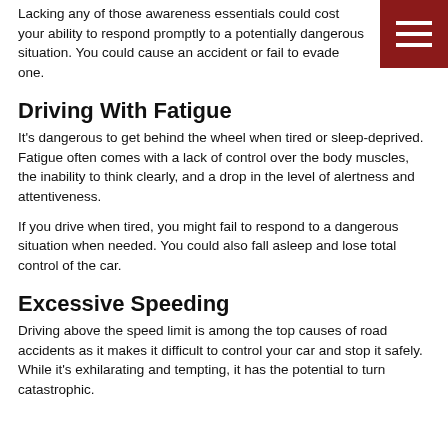Lacking any of those awareness essentials could cost your ability to respond promptly to a potentially dangerous situation. You could cause an accident or fail to evade one.
Driving With Fatigue
It's dangerous to get behind the wheel when tired or sleep-deprived. Fatigue often comes with a lack of control over the body muscles, the inability to think clearly, and a drop in the level of alertness and attentiveness.
If you drive when tired, you might fail to respond to a dangerous situation when needed. You could also fall asleep and lose total control of the car.
Excessive Speeding
Driving above the speed limit is among the top causes of road accidents as it makes it difficult to control your car and stop it safely. While it's exhilarating and tempting, it has the potential to turn catastrophic.